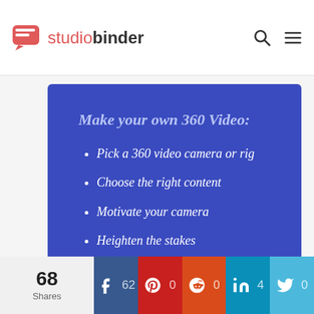studiobinder
[Figure (infographic): Blue slide with heading 'Make your own 360 Video:' and four bullet points: Pick a 360 video camera or rig, Choose the right content, Motivate your camera, Heighten the stakes]
Pick a 360 video camera or rig
Choose the right content
Motivate your camera
Heighten the stakes
68 Shares | Facebook 62 | Pinterest 0 | Reddit 0 | LinkedIn 4 | Twitter 0